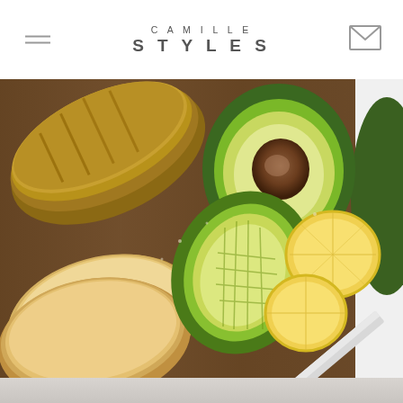CAMILLE STYLES
[Figure (photo): Overhead food photography on a dark wooden cutting board showing: a seeded whole grain loaf of bread (upper left), sliced bread pieces (lower left), two halved avocados (one with pit showing, one scored/cubed), lemon wedges, a whole lime or dark green avocado (upper right), and a serrated knife with red handle (lower right). The composition is styled for a food blog.]